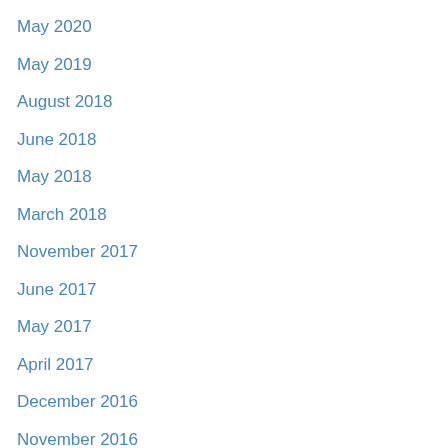May 2020
May 2019
August 2018
June 2018
May 2018
March 2018
November 2017
June 2017
May 2017
April 2017
December 2016
November 2016
October 2016
August 2016
May 2016